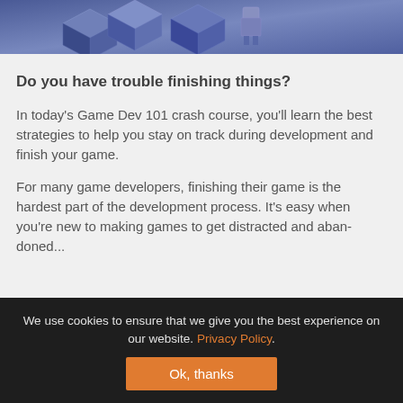[Figure (illustration): Abstract 3D geometric shapes in blue/purple tones, partial view at top of page]
Do you have trouble finishing things?
In today’s Game Dev 101 crash course, you’ll learn the best strategies to help you stay on track during development and finish your game.
For many game developers, finishing their game is the hardest part of the development process. It’s easy when you’re new to making games to get distracted and abandoned...
We use cookies to ensure that we give you the best experience on our website. Privacy Policy.
Ok, thanks